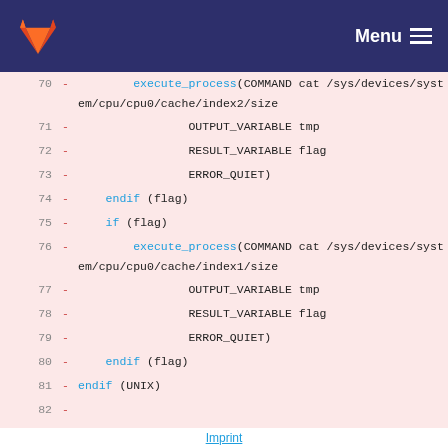GitLab Menu
[Figure (screenshot): GitLab diff view showing CMake code lines 70-84 with removed lines (pink background), including execute_process calls for reading CPU cache sizes on Linux and Apple systems]
Imprint